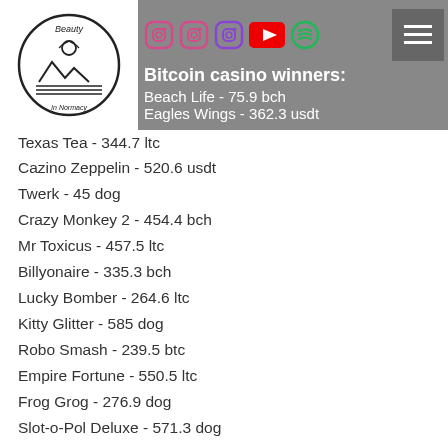Bitcoin casino winners: Beach Life - 75.9 bch, Eagles Wings - 362.3 usdt
Beach Life - 75.9 bch
Eagles Wings - 362.3 usdt
Texas Tea - 344.7 ltc
Cazino Zeppelin - 520.6 usdt
Twerk - 45 dog
Crazy Monkey 2 - 454.4 bch
Mr Toxicus - 457.5 ltc
Billyonaire - 335.3 bch
Lucky Bomber - 264.6 ltc
Kitty Glitter - 585 dog
Robo Smash - 239.5 btc
Empire Fortune - 550.5 ltc
Frog Grog - 276.9 dog
Slot-o-Pol Deluxe - 571.3 dog
Cream of the Crop - 616.3 usdt
Play Bitcoin slots:
Diamond Reels Casino Booming Bananas
Vegas Crest Casino Phantom Thief